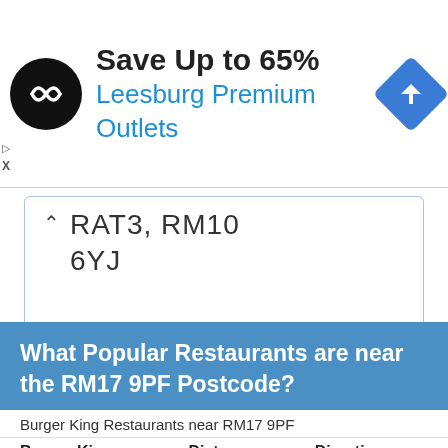[Figure (logo): Ad banner: circular black logo with double-arrow icon, text 'Save Up to 65%' and 'Leesburg Premium Outlets' in blue, blue diamond navigation icon on right]
RATS, RM10 6YJ
What Popular Restaurants are near the RM17 9PF Postcode?
| Burger King | Distance | Directions |
| --- | --- | --- |
| 24 West Mall. | 0.22 | Directions |